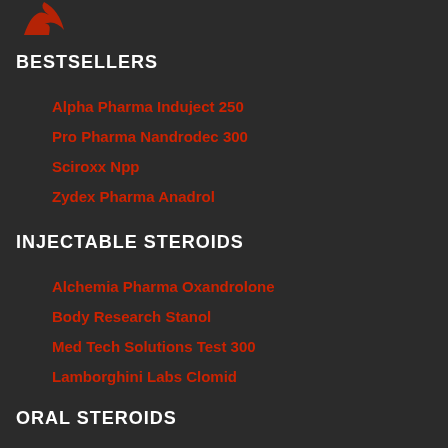[Figure (logo): Red flame/swoosh logo in top left corner]
BESTSELLERS
Alpha Pharma Induject 250
Pro Pharma Nandrodec 300
Sciroxx Npp
Zydex Pharma Anadrol
INJECTABLE STEROIDS
Alchemia Pharma Oxandrolone
Body Research Stanol
Med Tech Solutions Test 300
Lamborghini Labs Clomid
ORAL STEROIDS
Dragon Pharma Oxandrolone